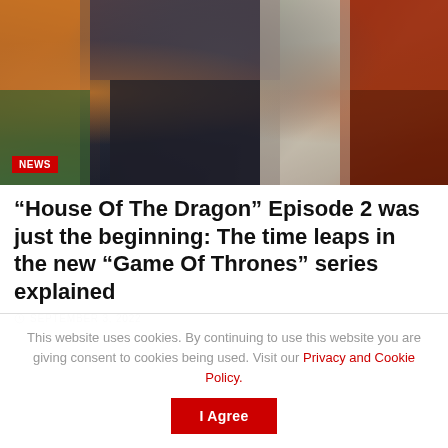[Figure (photo): Promotional image for House of the Dragon TV series showing multiple characters in medieval fantasy costumes. A NEWS badge appears in the bottom-left corner.]
“House Of The Dragon” Episode 2 was just the beginning: The time leaps in the new “Game Of Thrones” series explained
SEPTEMBER 3, 2022
This website uses cookies. By continuing to use this website you are giving consent to cookies being used. Visit our Privacy and Cookie Policy.
I Agree